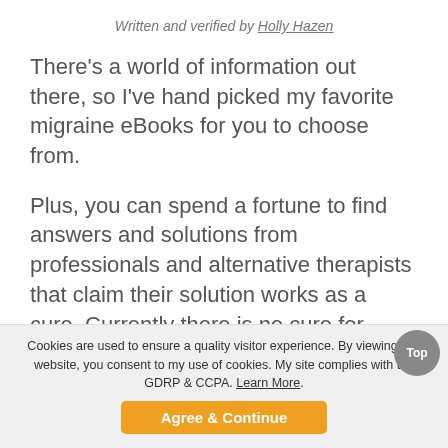Written and verified by Holly Hazen
There's a world of information out there, so I've hand picked my favorite migraine eBooks for you to choose from.
Plus, you can spend a fortune to find answers and solutions from professionals and alternative therapists that claim their solution works as a cure. Currently there is no cure for migraines.
But there are a lot of options for you to test out.
Cookies are used to ensure a quality visitor experience. By viewing this website, you consent to my use of cookies. My site complies with the GDRP & CCPA. Learn More. Agree & Continue